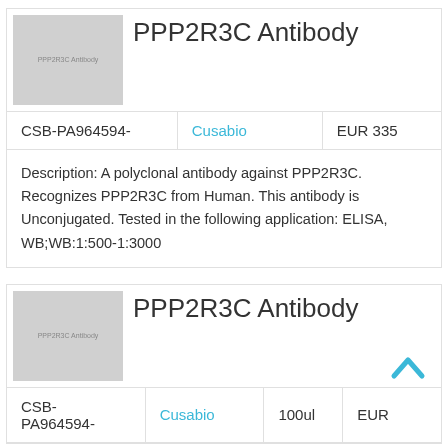[Figure (photo): Product image placeholder for PPP2R3C Antibody, gray rectangle with text 'PPP2R3C Antibody']
PPP2R3C Antibody
| CSB-PA964594- | Cusabio | EUR 335 |
| --- | --- | --- |
Description: A polyclonal antibody against PPP2R3C. Recognizes PPP2R3C from Human. This antibody is Unconjugated. Tested in the following application: ELISA, WB;WB:1:500-1:3000
[Figure (photo): Product image placeholder for PPP2R3C Antibody, gray rectangle with text 'PPP2R3C Antibody']
PPP2R3C Antibody
| CSB-PA964594- | Cusabio | 100ul | EUR |
| --- | --- | --- | --- |